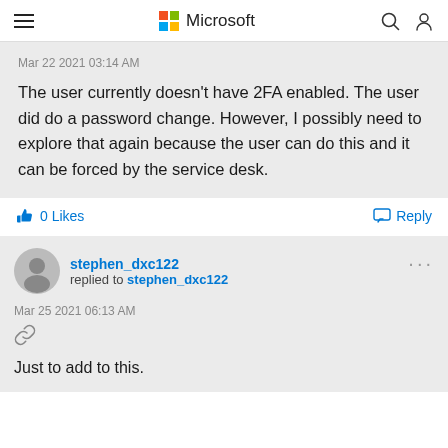Microsoft
Mar 22 2021 03:14 AM
The user currently doesn't have 2FA enabled. The user did do a password change. However, I possibly need to explore that again because the user can do this and it can be forced by the service desk.
0 Likes   Reply
stephen_dxc122 replied to stephen_dxc122
Mar 25 2021 06:13 AM
Just to add to this.